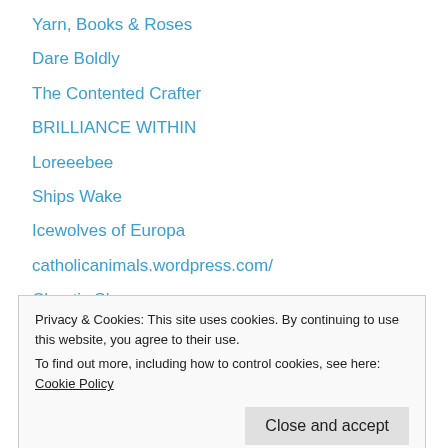Yarn, Books & Roses
Dare Boldly
The Contented Crafter
BRILLIANCE WITHIN
Loreeebee
Ships Wake
Icewolves of Europa
catholicanimals.wordpress.com/
Chaotic Shapes
cookiecrumbstoliveby
Privacy & Cookies: This site uses cookies. By continuing to use this website, you agree to their use. To find out more, including how to control cookies, see here: Cookie Policy
whip1up